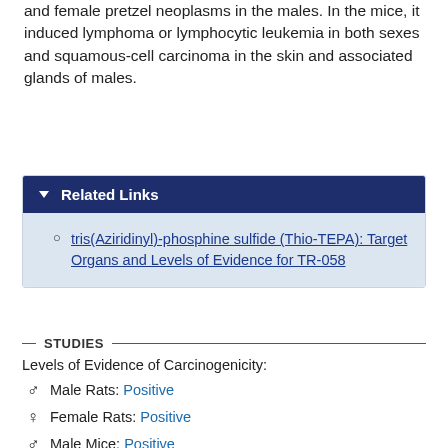and female pretzel neoplasms in the males. In the mice, it induced lymphoma or lymphocytic leukemia in both sexes and squamous-cell carcinoma in the skin and associated glands of males.
Related Links
tris(Aziridinyl)-phosphine sulfide (Thio-TEPA): Target Organs and Levels of Evidence for TR-058
STUDIES
Levels of Evidence of Carcinogenicity:
Male Rats: Positive
Female Rats: Positive
Male Mice: Positive
Female Mice: Positive